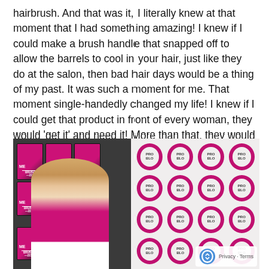hairbrush. And that was it, I literally knew at that moment that I had something amazing! I knew if I could make a brush handle that snapped off to allow the barrels to cool in your hair, just like they do at the salon, then bad hair days would be a thing of my past. It was such a moment for me. That moment single-handedly changed my life! I knew if I could get that product in front of every woman, they would 'get it' and need it! More than that, they would love it!
[Figure (photo): A woman in a pink blazer and white top stands in front of shelves displaying pink and dark product boxes labeled 'ME', alongside a backdrop with repeating PRO BLO circles in pink and white. Bottom right corner shows a reCAPTCHA privacy badge with 'Privacy - Terms' text.]